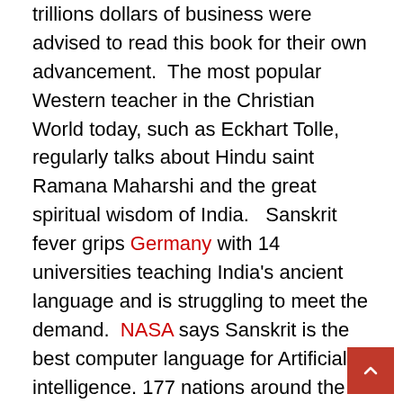trillions dollars of business were advised to read this book for their own advancement. The most popular Western teacher in the Christian World today, such as Eckhart Tolle, regularly talks about Hindu saint Ramana Maharshi and the great spiritual wisdom of India.   Sanskrit fever grips Germany with 14 universities teaching India's ancient language and is struggling to meet the demand.  NASA says Sanskrit is the best computer language for Artificial intelligence. 177 nations around the world signed up for International Yoga day with little effort.  World renowned cosmologist  Carl Sagan (famous Cosmos series) says secrets of the universe are hidden in the Hindu scriptures.  Oppenheimer who led the